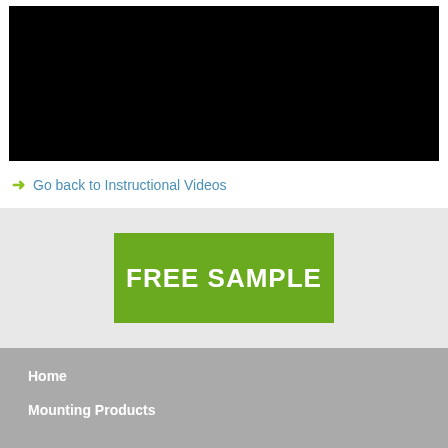[Figure (screenshot): Black video player area]
→ Go back to Instructional Videos
[Figure (other): FREE SAMPLE green button banner]
Home
Mounting Products